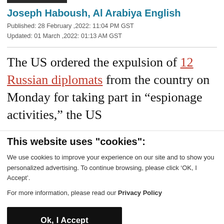Joseph Haboush, Al Arabiya English
Published: 28 February ,2022: 11:04 PM GST
Updated: 01 March ,2022: 01:13 AM GST
The US ordered the expulsion of 12 Russian diplomats from the country on Monday for taking part in “espionage activities,” the US
This website uses "cookies":
We use cookies to improve your experience on our site and to show you personalized advertising. To continue browsing, please click ‘OK, I Accept’.
For more information, please read our Privacy Policy
Ok, I Accept